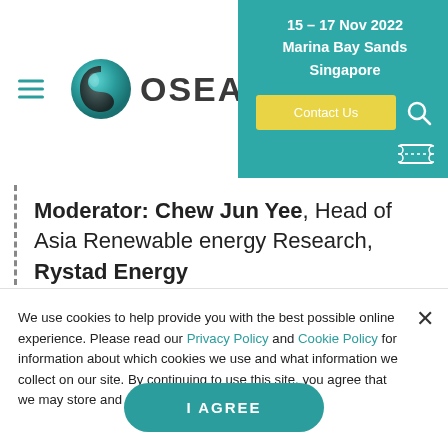[Figure (logo): OSEA logo with teal/dark sphere icon and OSEA text]
15 – 17 Nov 2022
Marina Bay Sands
Singapore
Contact Us
Moderator: Chew Jun Yee, Head of Asia Renewable energy Research, Rystad Energy
We use cookies to help provide you with the best possible online experience. Please read our Privacy Policy and Cookie Policy for information about which cookies we use and what information we collect on our site. By continuing to use this site, you agree that we may store and access cookies on your device.
I AGREE